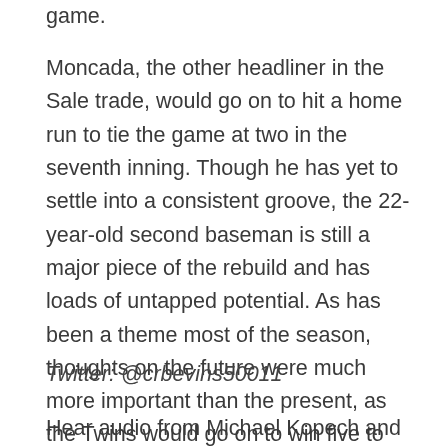game.
Moncada, the other headliner in the Sale trade, would go on to hit a home run to tie the game at two in the seventh inning. Though he has yet to settle into a consistent groove, the 22-year-old second baseman is still a major piece of the rebuild and has loads of untapped potential. As has been a theme most of the season, thoughts on the future were much more important than the present, as the Twins would go on to win five to two. Kopech's next projected start is for this Sunday, so more can be made from him then. For now, however, Kopech remains a beacon of hope for a franchise that hopes to be contending sooner rather than later.
Twitter: @crbevins50011
Hear audio from Michael Kopech and Joe McEwing: